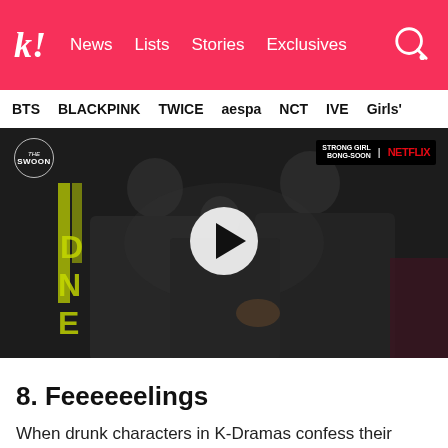k! News  Lists  Stories  Exclusives
BTS  BLACKPINK  TWICE  aespa  NCT  IVE  Girls'
[Figure (screenshot): Video thumbnail from The Swoon showing two men in dark clothing in a dimly lit scene, with a play button overlay. Top right shows 'STRONG GIRL BONG-SOON | NETFLIX' badge.]
8. Feeeeeelings
When drunk characters in K-Dramas confess their feelings to someone, a lot of times, it's in